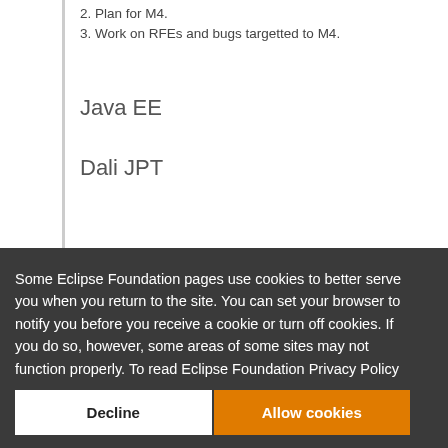2. Plan for M4.
3. Work on RFEs and bugs targetted to M4.
Java EE
Dali JPT
Some Eclipse Foundation pages use cookies to better serve you when you return to the site. You can set your browser to notify you before you receive a cookie or turn off cookies. If you do so, however, some areas of some sites may not function properly. To read Eclipse Foundation Privacy Policy click here.
WTP Performance Tests